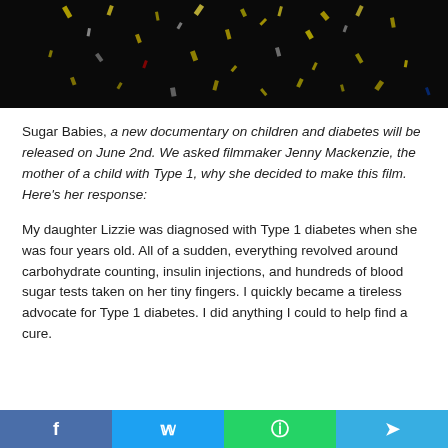[Figure (photo): Dark background with scattered colorful confetti pieces floating in the air]
Sugar Babies, a new documentary on children and diabetes will be released on June 2nd. We asked filmmaker Jenny Mackenzie, the mother of a child with Type 1, why she decided to make this film. Here's her response:
My daughter Lizzie was diagnosed with Type 1 diabetes when she was four years old. All of a sudden, everything revolved around carbohydrate counting, insulin injections, and hundreds of blood sugar tests taken on her tiny fingers. I quickly became a tireless advocate for Type 1 diabetes. I did anything I could to help find a cure.